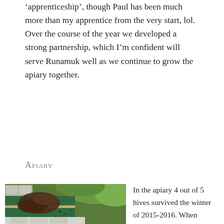'apprenticeship', though Paul has been much more than my apprentice from the very start, lol. Over the course of the year we developed a strong partnership, which I'm confident will serve Runamuk well as we continue to grow the apiary together.
Apiary
[Figure (photo): Close-up photo of green wooden beehive boxes stacked on cinder blocks with a large cluster of bees swarming on the outside of the hive, green leafy background.]
In the apiary 4 out of 5 hives survived the winter of 2015-2016. When statistics indicate beekeepers are losing anywhere from 30 to 37% of